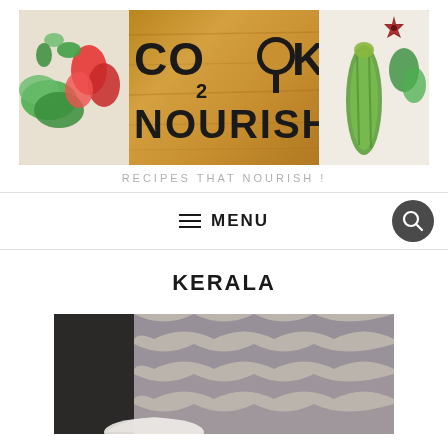[Figure (logo): Cook2Nourish logo banner with wooden cutting board, vegetables, and spices]
RECIPES THAT NOURISH !
≡ MENU
KERALA
[Figure (photo): Food photo showing cloth/napkins and a bowl, Kerala recipe article]